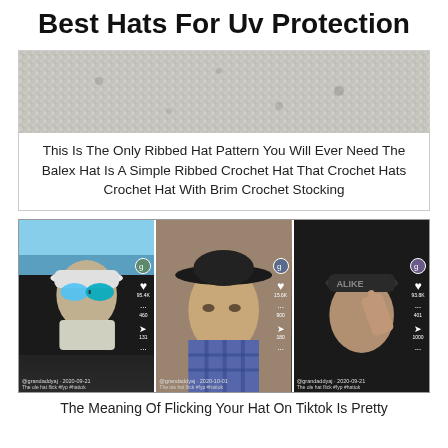Best Hats For Uv Protection
[Figure (photo): Close-up photo of a white/grey knitted or crocheted hat texture showing ribbed pattern]
This Is The Only Ribbed Hat Pattern You Will Ever Need The Balex Hat Is A Simple Ribbed Crochet Hat That Crochet Hats Crochet Hat With Brim Crochet Stocking
[Figure (photo): Three TikTok video screenshots side by side showing people wearing hats: left panel shows person in white baseball cap with reflective sunglasses outdoors, middle panel shows person in dark cowboy hat indoors, right panel shows person in dark cap. All videos from @grandaddyaj account dated 2020-09-21 with captions about hat flicking and #fyp #hattok hashtags.]
The Meaning Of Flicking Your Hat On Tiktok Is Pretty